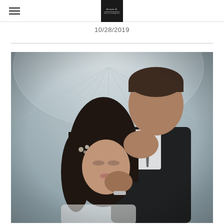Navigation menu and logo
10/28/2019
[Figure (photo): Wedding couple portrait: groom kissing bride on the forehead while holding her face, both under a clear umbrella in rainy weather. Groom wears black suit with floral boutonniere. Bride has dark wavy hair with subtle floral headpiece.]